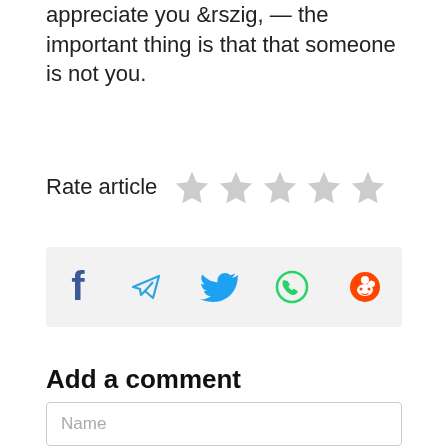appreciate you &rszig, — the important thing is that that someone is not you.
Rate article ★★★★★
[Figure (infographic): Social sharing bar with icons for Facebook, Telegram, Twitter, WhatsApp, and Reddit]
Add a comment
Name (input field placeholder)